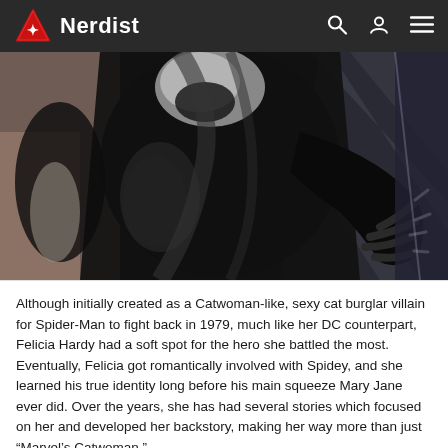Nerdist
[Figure (illustration): Comic book illustration of Black Cat (Felicia Hardy) in a dark black and white costume with claws, crouching in a dynamic pose against a dark background with diagonal lighting effects]
Although initially created as a Catwoman-like, sexy cat burglar villain for Spider-Man to fight back in 1979, much like her DC counterpart, Felicia Hardy had a soft spot for the hero she battled the most. Eventually, Felicia got romantically involved with Spidey, and she learned his true identity long before his main squeeze Mary Jane ever did. Over the years, she has had several stories which focused on her and developed her backstory, making her way more than just “Marvel’s Catwoman.”
It should be noted that all of the...